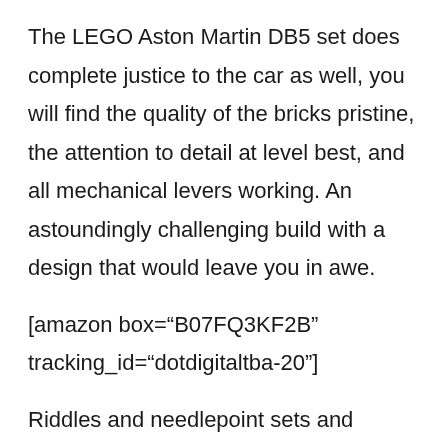The LEGO Aston Martin DB5 set does complete justice to the car as well, you will find the quality of the bricks pristine, the attention to detail at level best, and all mechanical levers working. An astoundingly challenging build with a design that would leave you in awe.
[amazon box="B07FQ3KF2B" tracking_id="dotdigitaltba-20"]
Riddles and needlepoint sets and